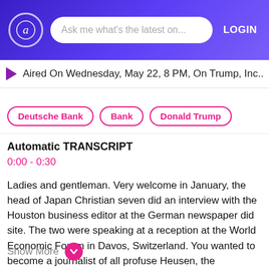Ask me what's the latest on...  LOGIN
Aired On Wednesday, May 22, 8 PM, On Trump, Inc...
Deutsche Bank
Bank
Donald Trump
Automatic TRANSCRIPT
0:00 - 0:30
Ladies and gentleman. Very welcome in January, the head of Japan Christian seven did an interview with the Houston business editor at the German newspaper did site. The two were speaking at a reception at the World Economic Forum in Davos, Switzerland. You wanted to become a journalist of all profuse Heusen, the newspaper, man, asking the banker if you were a journalist, how would you report on Deutsche Bank today? So in a nutshell what you, right? The Deutsches CEO is taken aback.
Show More